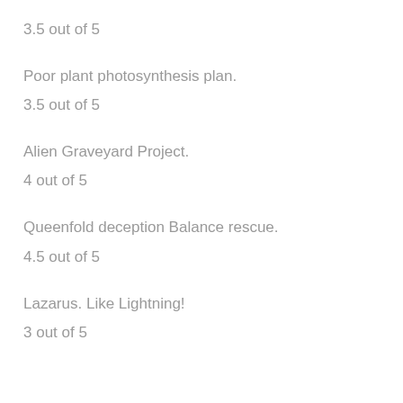3.5 out of 5
Poor plant photosynthesis plan.
3.5 out of 5
Alien Graveyard Project.
4 out of 5
Queenfold deception Balance rescue.
4.5 out of 5
Lazarus. Like Lightning!
3 out of 5